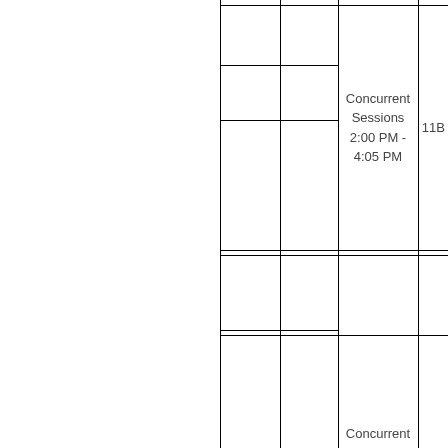|  |  |  | Concurrent Sessions 2:00 PM - 4:05 PM | 11B |
|  |  |  |  |  |
|  |  |  |  |  |
|  |  |  | Concurrent |  |